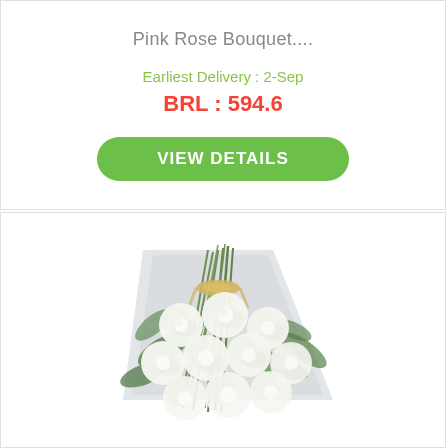Pink Rose Bouquet....
Earliest Delivery : 2-Sep
BRL : 594.6
VIEW DETAILS
[Figure (photo): A bouquet of white roses wrapped in clear/grey paper, tied with a straw-colored ribbon, with green leaves visible.]